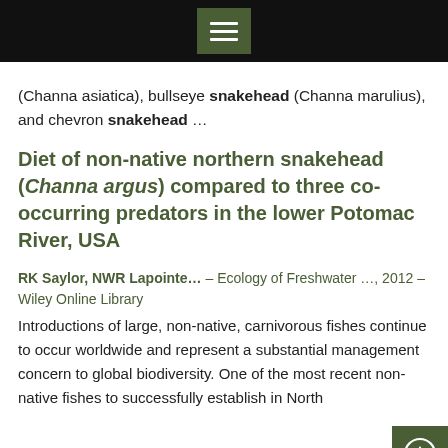Menu navigation bar
(Channa asiatica), bullseye snakehead (Channa marulius), and chevron snakehead …
Diet of non-native northern snakehead (Channa argus) compared to three co-occurring predators in the lower Potomac River, USA
RK Saylor, NWR Lapointe… – Ecology of Freshwater …, 2012 – Wiley Online Library
Introductions of large, non-native, carnivorous fishes continue to occur worldwide and represent a substantial management concern to global biodiversity. One of the most recent non-native fishes to successfully establish in North